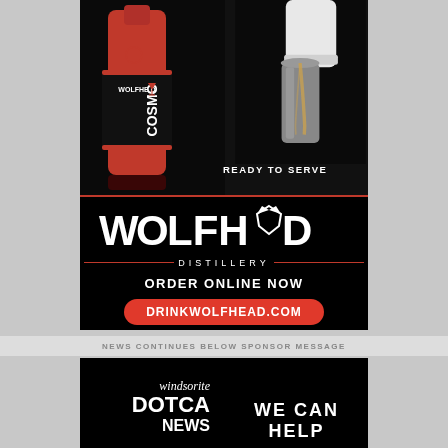[Figure (photo): Wolfhead Distillery advertisement showing a bottle of Wolfhead Cosmo product on the left and a hand pouring from a cocktail shaker on the right, on a black background. Text reads 'READY TO SERVE', with the Wolfhead Distillery logo, 'ORDER ONLINE NOW', and 'DRINKWOLFHEAD.COM' button.]
NEWS CONTINUES BELOW SPONSOR MESSAGE
[Figure (logo): Windsorite DOTca NEWS advertisement on black background with text 'WE CAN HELP' at the bottom.]